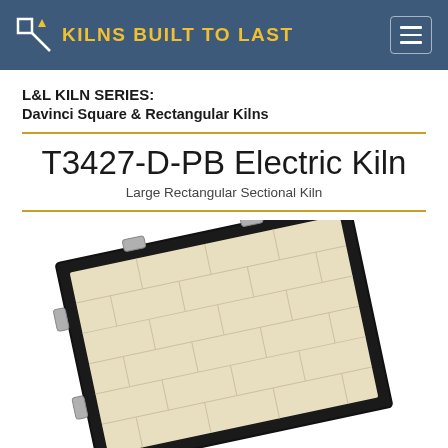L|L KILNS BUILT TO LAST
L&L KILN SERIES:
Davinci Square & Rectangular Kilns
T3427-D-PB Electric Kiln
Large Rectangular Sectional Kiln
[Figure (photo): Photo of a large rectangular kiln section shown at an angle, with a cream/beige firebrick interior visible and dark metal frame with metal handles/hooks on the sides.]